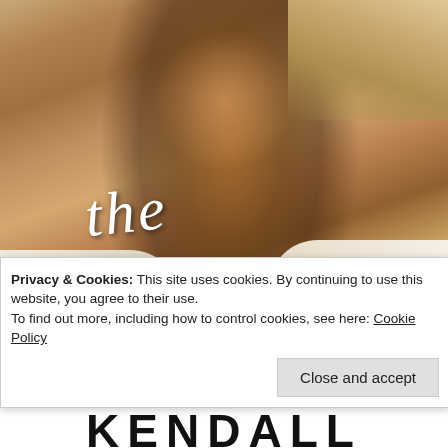[Figure (illustration): Book cover for 'The Fix Up' — a romance novel showing a shirtless muscular man lying in white sheets. The word 'the' is written in white script/cursive font and 'FIX UP' in large bold yellow capital letters at the bottom of the cover. The bottom edge shows the beginning of the author's name (KENDALL) in large black block letters.]
Privacy & Cookies: This site uses cookies. By continuing to use this website, you agree to their use.
To find out more, including how to control cookies, see here: Cookie Policy
Close and accept